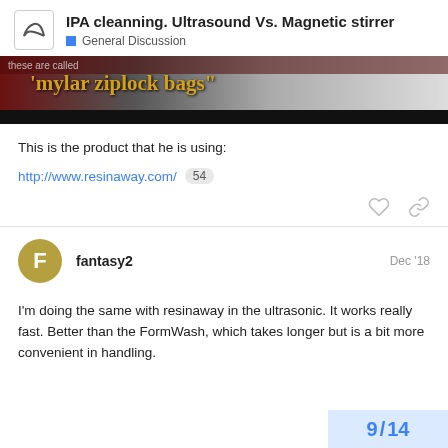IPA cleanning. Ultrasound Vs. Magnetic stirrer — General Discussion
[Figure (photo): Partial screenshot of a video showing text 'these are called mylar ziplock bags' in gold/yellow font on a dark background with a black bar at the bottom]
This is the product that he is using:
http://www.resinaway.com/ 54
fantasy2
Dec '18
I'm doing the same with resinaway in the ultrasonic. It works really fast. Better than the FormWash, which takes longer but is a bit more convenient in handling.
9 / 14